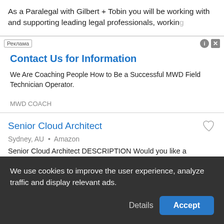As a Paralegal with Gilbert + Tobin you will be working with and supporting leading legal professionals, working
[Figure (other): Advertisement banner with label 'Реклама', info and close icons, headline 'Contact Us for Information', body text 'We Are Coaching People How to Be a Successful MWD Field Technician Operator.', and company name 'MWD COACH']
Senior Cloud Architect
Sydney, AU • Amazon
Senior Cloud Architect DESCRIPTION Would you like a career that gives you opportunities to help customer
We use cookies to improve the user experience, analyze traffic and display relevant ads.